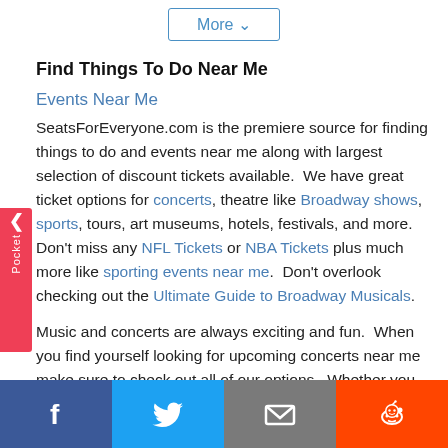[Figure (other): More button with dropdown chevron]
Find Things To Do Near Me
Events Near Me
SeatsForEveryone.com is the premiere source for finding things to do and events near me along with largest selection of discount tickets available.  We have great ticket options for concerts, theatre like Broadway shows, sports, tours, art museums, hotels, festivals, and more. Don't miss any NFL Tickets or NBA Tickets plus much more like sporting events near me.  Don't overlook checking out the Ultimate Guide to Broadway Musicals.
Music and concerts are always exciting and fun.  When you find yourself looking for upcoming concerts near me make sure to check out all of our options.  Whether you are seeking rap concerts near me or tickets to the symphony orchestra, we have all of these
Facebook Twitter Email Reddit share buttons